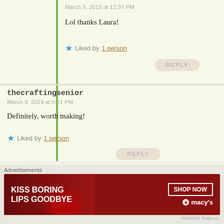March 9, 2019 at 12:37 PM
Lol thanks Laura!
★ Liked by 1 person
REPLY
thecraftingsenior
March 9, 2019 at 5:21 PM
Definitely, worth making!
★ Liked by 1 person
REPLY
indianeskitchen
March 10, 2019 at 12:26 AM
Advertisements
[Figure (infographic): Macy's lip product advertisement banner: dark red background with woman's face/lips, text 'KISS BORING LIPS GOODBYE', 'SHOP NOW' button, Macy's star logo]